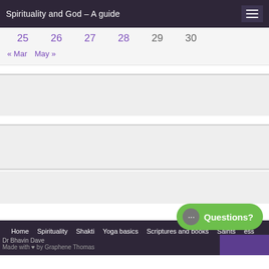Spirituality and God – A guide
| 25 | 26 | 27 | 28 | 29 | 30 |
« Mar   May »
[Figure (other): Blank advertisement section 1]
[Figure (other): Blank advertisement section 2]
[Figure (other): Blank advertisement section 3]
Home  Spirituality  Shakti  Yoga basics  Scriptures and books  Saints  [ess]  Dr Bhavin Dave  Made with [heart] by Graphene Thomas